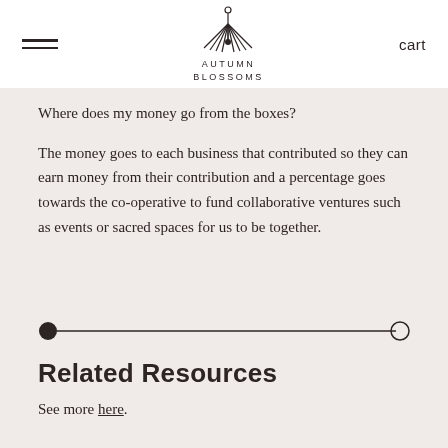≡  AUTUMN BLOSSOMS  cart
Where does my money go from the boxes?
The money goes to each business that contributed so they can earn money from their contribution and a percentage goes towards the co-operative to fund collaborative ventures such as events or sacred spaces for us to be together.
[Figure (other): Horizontal divider line with a filled circle on the left end and an open circle on the right end]
Related Resources
See more here.